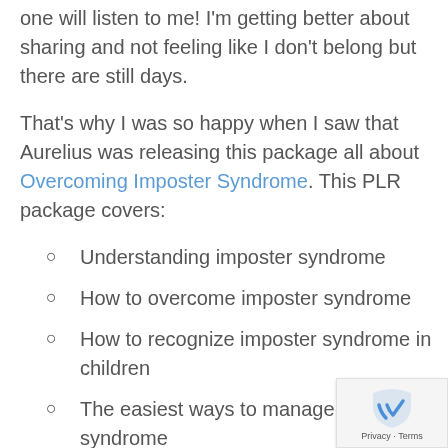one will listen to me! I'm getting better about sharing and not feeling like I don't belong but there are still days.
That's why I was so happy when I saw that Aurelius was releasing this package all about Overcoming Imposter Syndrome. This PLR package covers:
Understanding imposter syndrome
How to overcome imposter syndrome
How to recognize imposter syndrome in children
The easiest ways to manage the syndrome
How to be kinder to yourself
Why you should work on yourself
Why you should abandon